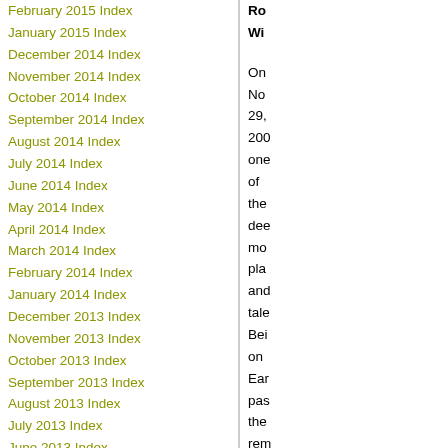February 2015 Index
January 2015 Index
December 2014 Index
November 2014 Index
October 2014 Index
September 2014 Index
August 2014 Index
July 2014 Index
June 2014 Index
May 2014 Index
April 2014 Index
March 2014 Index
February 2014 Index
January 2014 Index
December 2013 Index
November 2013 Index
October 2013 Index
September 2013 Index
August 2013 Index
July 2013 Index
June 2013 Index
May 2013 Index
April 2013 Index
March 2013 Index
February 2013 Index
Ro
Wi

On
No
29,
200
one
of
the
dee
mo
pla
and
tale
Bei
on
Ear
pas
the
rem
Sir
Ge
Ha
"Th